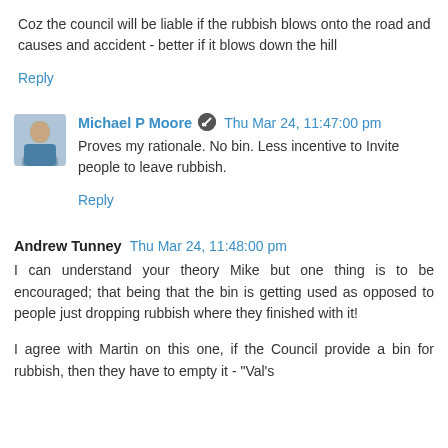Coz the council will be liable if the rubbish blows onto the road and causes and accident - better if it blows down the hill
Reply
Michael P Moore  Thu Mar 24, 11:47:00 pm
Proves my rationale. No bin. Less incentive to Invite people to leave rubbish.
Reply
Andrew Tunney  Thu Mar 24, 11:48:00 pm
I can understand your theory Mike but one thing is to be encouraged; that being that the bin is getting used as opposed to people just dropping rubbish where they finished with it!
I agree with Martin on this one, if the Council provide a bin for rubbish, then they have to empty it - "Val's